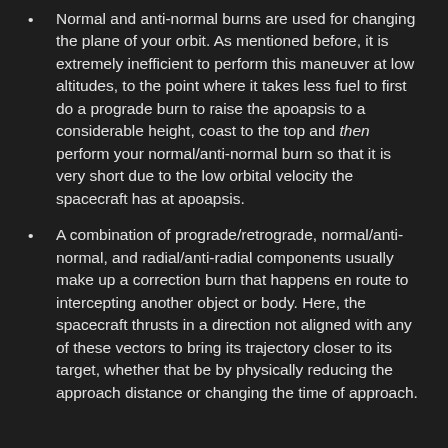Normal and anti-normal burns are used for changing the plane of your orbit. As mentioned before, it is extremely inefficient to perform this maneuver at low altitudes, to the point where it takes less fuel to first do a prograde burn to raise the apoapsis to a considerable height, coast to the top and then perform your normal/anti-normal burn so that it is very short due to the low orbital velocity the spacecraft has at apoapsis.
A combination of prograde/retrograde, normal/anti-normal, and radial/anti-radial components usually make up a correction burn that happens en route to intercepting another object or body. Here, the spacecraft thrusts in a direction not aligned with any of these vectors to bring its trajectory closer to its target, whether that be by physically reducing the approach distance or changing the time of approach.